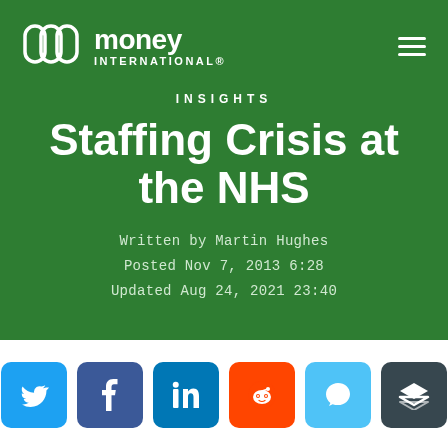[Figure (logo): Money International logo with stylized M icon and text]
INSIGHTS
Staffing Crisis at the NHS
Written by Martin Hughes
Posted Nov 7, 2013 6:28
Updated Aug 24, 2021 23:40
[Figure (infographic): Social sharing buttons: Twitter, Facebook, LinkedIn, Reddit, Chat, Layers/Buffer]
Rising concerns over the understaffed Accident